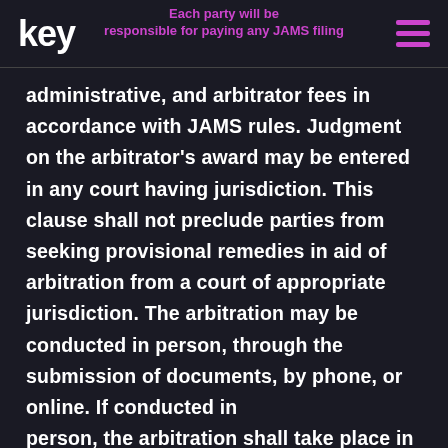key | [navigation menu header] | Each party will be responsible for paying any JAMS filing
administrative, and arbitrator fees in accordance with JAMS rules. Judgment on the arbitrator's award may be entered in any court having jurisdiction. This clause shall not preclude parties from seeking provisional remedies in aid of arbitration from a court of appropriate jurisdiction. The arbitration may be conducted in person, through the submission of documents, by phone, or online. If conducted in person, the arbitration shall take place in the United States county where you reside. The parties may litigate in court to